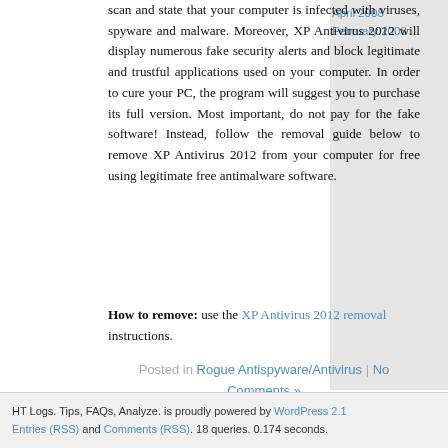scan and state that your computer is infected with viruses, spyware and malware. Moreover, XP Antivirus 2012 will display numerous fake security alerts and block legitimate and trustful applications used on your computer. In order to cure your PC, the program will suggest you to purchase its full version. Most important, do not pay for the fake software! Instead, follow the removal guide below to remove XP Antivirus 2012 from your computer for free using legitimate free antimalware software.
How to remove: use the XP Antivirus 2012 removal instructions.
Posted in Rogue Antispyware/Antivirus | No Comments »
April 2008
February 2008
HT Logs. Tips, FAQs, Analyze. is proudly powered by WordPress 2.1 Entries (RSS) and Comments (RSS). 18 queries. 0.174 seconds.